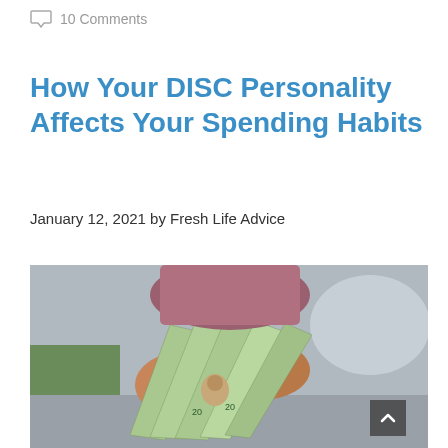10 Comments
How Your DISC Personality Affects Your Spending Habits
January 12, 2021 by Fresh Life Advice
[Figure (photo): Person holding a fan of US dollar bills ($20 notes) viewed from above, with green and grey background visible]